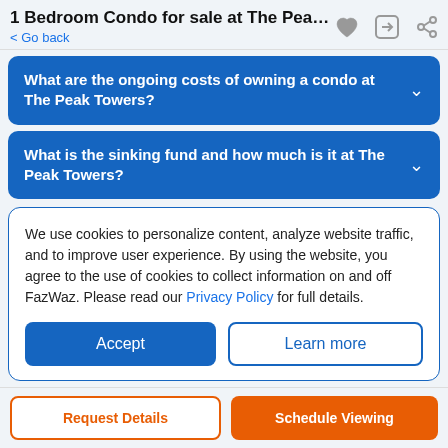1 Bedroom Condo for sale at The Peak T...
< Go back
What are the ongoing costs of owning a condo at The Peak Towers?
What is the sinking fund and how much is it at The Peak Towers?
We use cookies to personalize content, analyze website traffic, and to improve user experience. By using the website, you agree to the use of cookies to collect information on and off FazWaz. Please read our Privacy Policy for full details.
Accept
Learn more
Request Details
Schedule Viewing